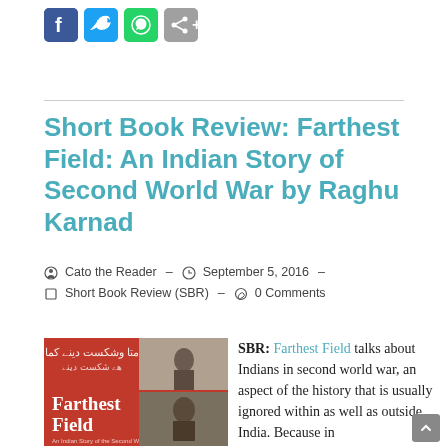[Figure (other): Social media sharing icons: Facebook (blue), Twitter (light blue), WhatsApp (green), Share (grey)]
Short Book Review: Farthest Field: An Indian Story of Second World War by Raghu Karnad
Cato the Reader  -  September 5, 2016  -  Short Book Review (SBR)  -  0 Comments
[Figure (photo): Book cover of Farthest Field: red background with Arabic/Urdu text at top, title 'Farthest Field' in white serif font, vintage photographs of people on the right side]
SBR: Farthest Field talks about Indians in second world war, an aspect of the history that is usually ignored within as well as outside India. Because in